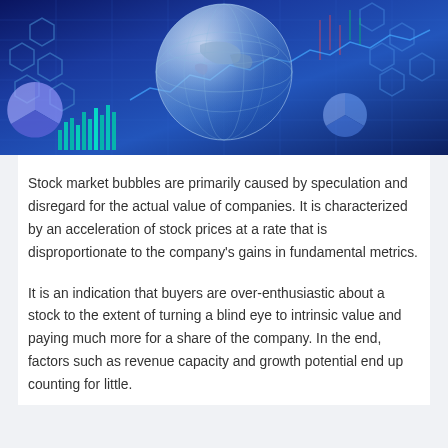[Figure (illustration): A digital/financial themed illustration featuring a transparent globe in the center surrounded by financial charts, pie charts, hexagonal patterns, and data visualizations on a blue background.]
Stock market bubbles are primarily caused by speculation and disregard for the actual value of companies. It is characterized by an acceleration of stock prices at a rate that is disproportionate to the company's gains in fundamental metrics.
It is an indication that buyers are over-enthusiastic about a stock to the extent of turning a blind eye to intrinsic value and paying much more for a share of the company. In the end, factors such as revenue capacity and growth potential end up counting for little.